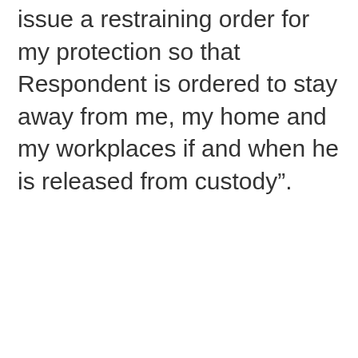issue a restraining order for my protection so that Respondent is ordered to stay away from me, my home and my workplaces if and when he is released from custody”.